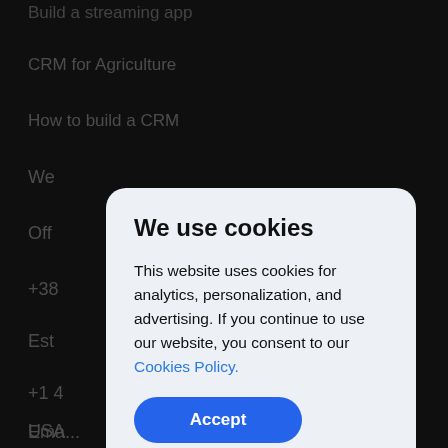Build a streaming app
CRM for Agriculture
How to build a CRM
We
Off
+38
Est
+1 4
USA
Ema...
We use cookies
This website uses cookies for analytics, personalization, and advertising. If you continue to use our website, you consent to our Cookies Policy.